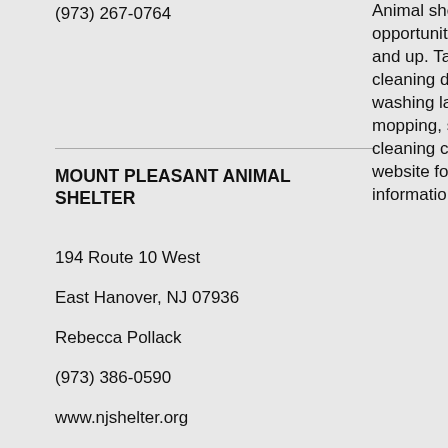(973) 267-0764
MOUNT PLEASANT ANIMAL SHELTER
194 Route 10 West
East Hanover, NJ 07936
Rebecca Pollack
(973) 386-0590
www.njshelter.org
Animal shelter with opportunities for students 1 and up. Tasks include cleaning dish sanitizing pa washing laundry, mopping, sweeping, and cleaning crate Visit their website for more information